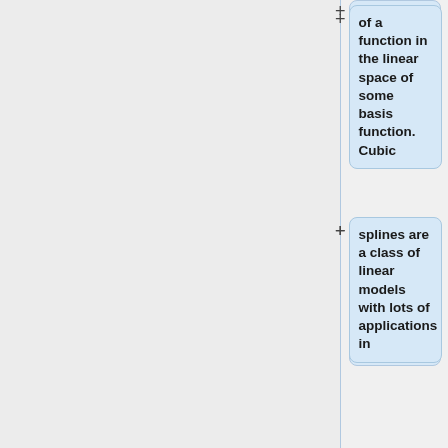of a function in the linear space of some basis function. Cubic
splines are a class of linear models with lots of applications in
computer graphics. In this model, our basis functions are <math>\,3^{rd}</math> </math>
order polynomials. We have similar structure as RBF network in